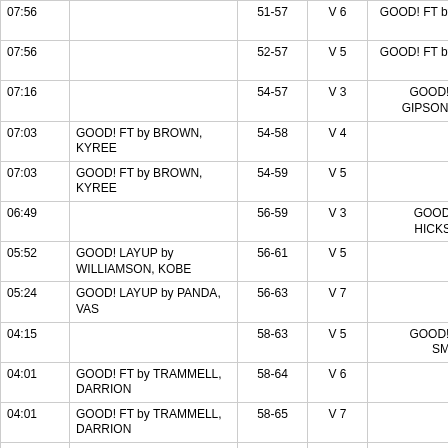| Time | Home | Score | Margin | Visitor |
| --- | --- | --- | --- | --- |
| 07:56 |  | 51-57 | V 6 | GOOD! FT by GIPSON, MONTRE |
| 07:56 |  | 52-57 | V 5 | GOOD! FT by GIPSON, MONTRE |
| 07:16 |  | 54-57 | V 3 | GOOD! LAYUP by GIPSON, MONTRE |
| 07:03 | GOOD! FT by BROWN, KYREE | 54-58 | V 4 |  |
| 07:03 | GOOD! FT by BROWN, KYREE | 54-59 | V 5 |  |
| 06:49 |  | 56-59 | V 3 | GOOD! DUNK by HICKS, FREDDY |
| 05:52 | GOOD! LAYUP by WILLIAMSON, KOBE | 56-61 | V 5 |  |
| 05:24 | GOOD! LAYUP by PANDA, VAS | 56-63 | V 7 |  |
| 04:15 |  | 58-63 | V 5 | GOOD! LAYUP by SMALL, TAHJ |
| 04:01 | GOOD! FT by TRAMMELL, DARRION | 58-64 | V 6 |  |
| 04:01 | GOOD! FT by TRAMMELL, DARRION | 58-65 | V 7 |  |
| 03:17 |  | 59-65 | V 6 | GOOD! FT by GIPSON, MONTRE |
| 03:06 | GOOD! 3PTR by | 59-68 | V 9 |  |